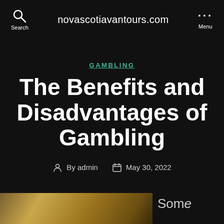novascotiavantours.com
GAMBLING
The Benefits and Disadvantages of Gambling
By admin   May 30, 2022
[Figure (photo): Partial image visible at bottom of page with text 'Some' partially visible on the right]